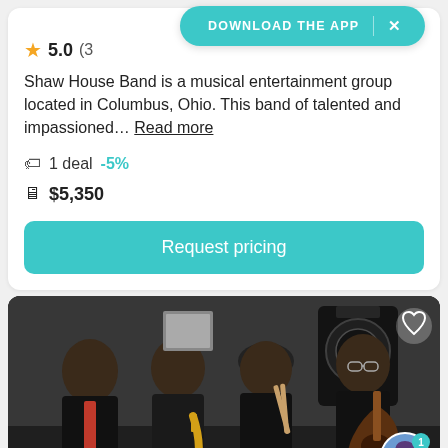DOWNLOAD THE APP  ×
5.0 (3…
Shaw House Band is a musical entertainment group located in Columbus, Ohio. This band of talented and impassioned… Read more
1 deal  -5%
$5,350
Request pricing
[Figure (photo): Four men in formal black suits posing together; one holds a saxophone, one holds drumsticks, one holds an electric guitar, with a speaker cabinet visible in the background]